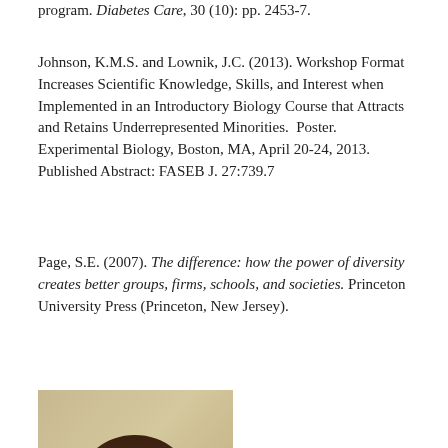program. Diabetes Care, 30 (10): pp. 2453-7.
Johnson, K.M.S. and Lownik, J.C. (2013). Workshop Format Increases Scientific Knowledge, Skills, and Interest when Implemented in an Introductory Biology Course that Attracts and Retains Underrepresented Minorities. Poster. Experimental Biology, Boston, MA, April 20-24, 2013. Published Abstract: FASEB J. 27:739.7
Page, S.E. (2007). The difference: how the power of diversity creates better groups, firms, schools, and societies. Princeton University Press (Princeton, New Jersey).
[Figure (photo): Portrait photo of a woman with long dark hair, smiling, against a blurred warm background.]